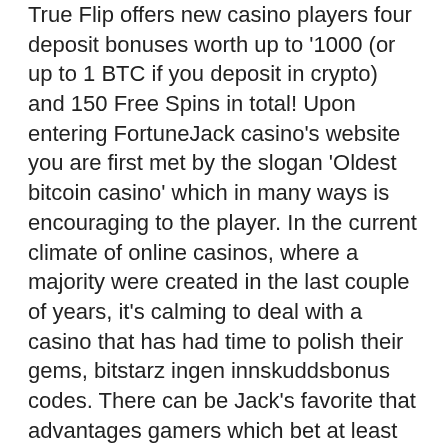True Flip offers new casino players four deposit bonuses worth up to '1000 (or up to 1 BTC if you deposit in crypto) and 150 Free Spins in total! Upon entering FortuneJack casino's website you are first met by the slogan 'Oldest bitcoin casino' which in many ways is encouraging to the player. In the current climate of online casinos, where a majority were created in the last couple of years, it's calming to deal with a casino that has had time to polish their gems, bitstarz ingen innskuddsbonus codes. There can be Jack's favorite that advantages gamers which bet at least zero, bitstarz ingen insättningsbonus codes. FortuneJack Casino Review Tip: Only users who verify mobile numbers are eligible to use promotions. One of the things we always look for is casino reputation, bitstarz ingen insättningsbonus codes for existing users 2021. No matter what we have